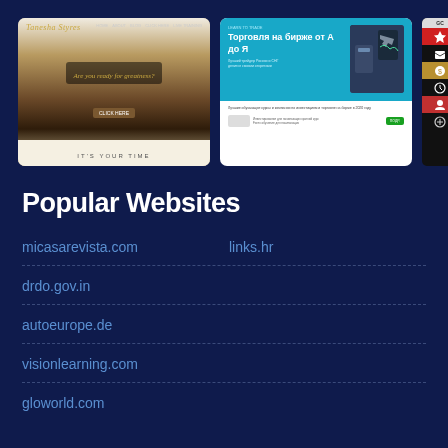[Figure (screenshot): Screenshot of a website featuring a woman in black dress with text 'Are you ready for greatness?' and 'IT'S YOUR TIME']
[Figure (screenshot): Screenshot of a Russian trading website with cyan header 'Торговля на бирже от А до Я' and a man in suit]
[Figure (screenshot): Partial screenshot of GC website with dark background and colorful icon sidebar]
Popular Websites
micasarevista.com
links.hr
drdo.gov.in
autoeurope.de
visionlearning.com
gloworld.com